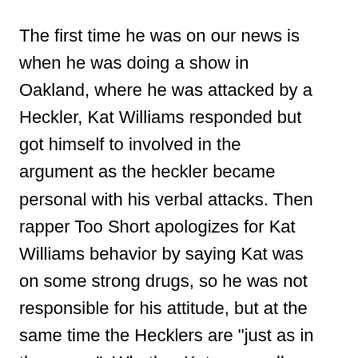The first time he was on our news is when he was doing a show in Oakland, where he was attacked by a Heckler, Kat Williams responded but got himself to involved in the argument as the heckler became personal with his verbal attacks. Then rapper Too Short apologizes for Kat Williams behavior by saying Kat was on some strong drugs, so he was not responsible for his attitude, but at the same time the Hecklers are "just as in the wrong". Whether Kat was really on drugs that night, or not, is to be known.
35-year-old Brian Herline of Modesto, is seeking class-action certification in an effort to get ticket money back for all audience members. Herline says hundreds of fans